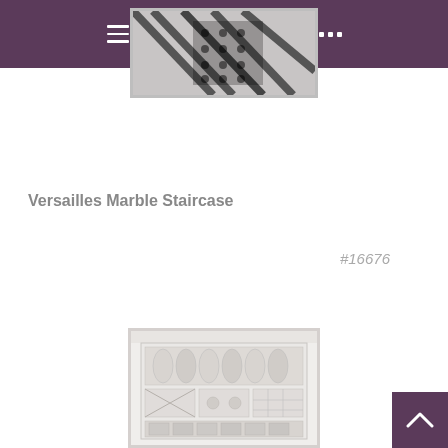Navigation bar with menu, search, book, settings, and more icons
[Figure (photo): Top portion of a product image showing a marble staircase pattern, partially cropped, with a light gray border frame. The image shows dark geometric/diagonal patterns.]
Versailles Marble Staircase
#16676
[Figure (photo): A product catalog image of the Versailles Marble Staircase design showing a white framed panel with multiple sections containing geometric marble tile patterns including cylindrical, diamond, and rectangular motifs in light gray/white tones.]
[Figure (other): Scroll-to-top button (purple chevron/arrow up button) in the bottom right corner.]